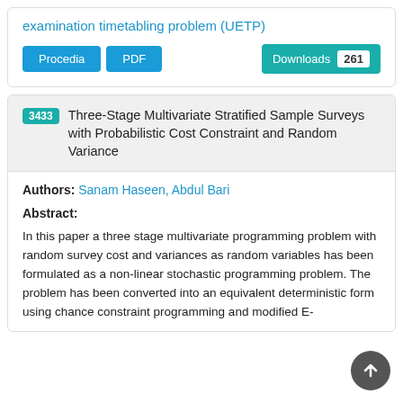examination timetabling problem (UETP)
Procedia | PDF | Downloads 261
3433 Three-Stage Multivariate Stratified Sample Surveys with Probabilistic Cost Constraint and Random Variance
Authors: Sanam Haseen, Abdul Bari
Abstract:
In this paper a three stage multivariate programming problem with random survey cost and variances as random variables has been formulated as a non-linear stochastic programming problem. The problem has been converted into an equivalent deterministic form using chance constraint programming and modified E-